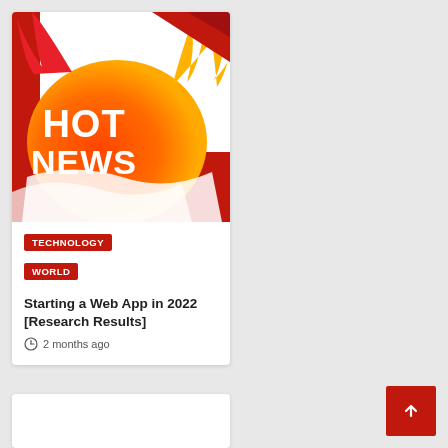[Figure (illustration): Hot News graphic with flame and bold HOT NEWS text on orange-red background]
TECHNOLOGY
WORLD
Starting a Web App in 2022 [Research Results]
2 months ago